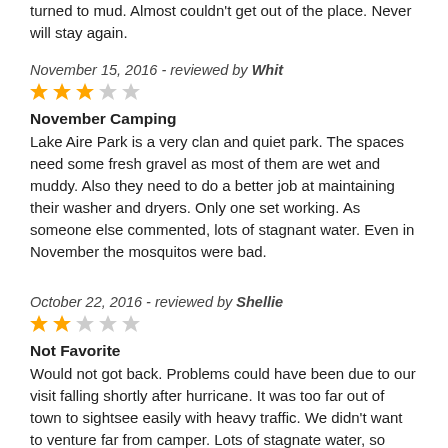turned to mud. Almost couldn't get out of the place. Never will stay again.
November 15, 2016 - reviewed by Whit
[Figure (other): 3 out of 5 stars rating]
November Camping
Lake Aire Park is a very clan and quiet park. The spaces need some fresh gravel as most of them are wet and muddy. Also they need to do a better job at maintaining their washer and dryers. Only one set working. As someone else commented, lots of stagnant water. Even in November the mosquitos were bad.
October 22, 2016 - reviewed by Shellie
[Figure (other): 2 out of 5 stars rating]
Not Favorite
Would not got back. Problems could have been due to our visit falling shortly after hurricane. It was too far out of town to sightsee easily with heavy traffic. We didn't want to venture far from camper. Lots of stagnate water, so mosquitoes were awful.